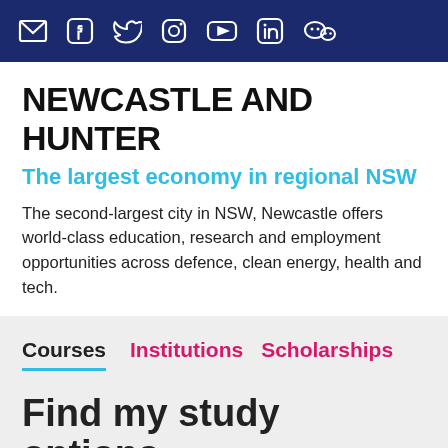[Figure (other): Dark navy header bar with social media icons: email, Facebook, Twitter, Instagram, YouTube, LinkedIn, WeChat]
NEWCASTLE AND HUNTER
The largest economy in regional NSW
The second-largest city in NSW, Newcastle offers world-class education, research and employment opportunities across defence, clean energy, health and tech.
Courses | Institutions | Scholarships
Find my study options
On-campus courses